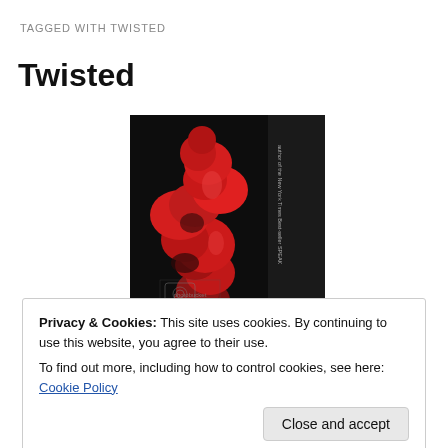TAGGED WITH TWISTED
Twisted
[Figure (photo): Book cover of 'Twisted' by Laurie Halse Anderson showing a dark background with a twisted red sculpture-like shape and the author's name on a vertical banner on the right side. A Photobucket watermark is visible.]
Privacy & Cookies: This site uses cookies. By continuing to use this website, you agree to their use.
To find out more, including how to control cookies, see here: Cookie Policy
Close and accept